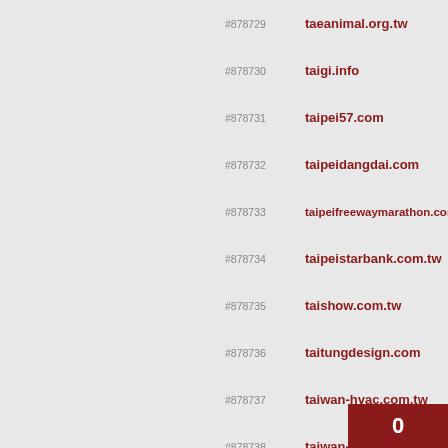#878729 taeanimal.org.tw
#878730 taigi.info
#878731 taipei57.com
#878732 taipeidangdai.com
#878733 taipeifreewaymarathon.com
#878734 taipeistarbank.com.tw
#878735 taishow.com.tw
#878736 taitungdesign.com
#878737 taiwan-hyac.com.tw
#878738 taiwan-sugar.net
#878739 taiwandairy.com
#878740 taiwanfarm.org.tw
#878741 taiwanrate.org